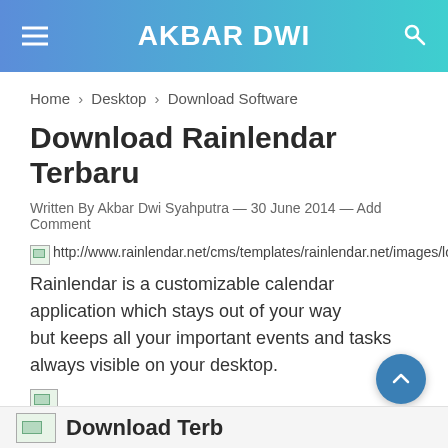AKBAR DWI
Home › Desktop › Download Software
Download Rainlendar Terbaru
Written By Akbar Dwi Syahputra — 30 June 2014 — Add Comment
[Figure (photo): Broken image placeholder for http://www.rainlendar.net/cms/templates/rainlendar.net/images/logo.gif]
Rainlendar is a customizable calendar application which stays out of your way but keeps all your important events and tasks always visible on your desktop.
[Figure (photo): Broken image placeholder (small)]
[Figure (photo): Broken image placeholder (small)]
[Figure (photo): Broken image at bottom strip]